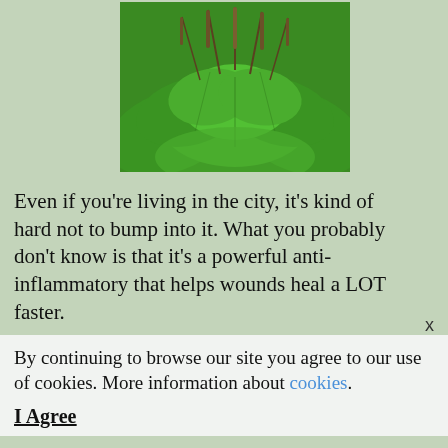[Figure (photo): Close-up photo of large green broadleaf plants (plantain weed, Plantago major) with tall seed spikes rising above the leaves, photographed outdoors.]
Even if you're living in the city, it's kind of hard not to bump into it. What you probably don't know is that it's a powerful anti-inflammatory that helps wounds heal a LOT faster.
By continuing to browse our site you agree to our use of cookies. More information about cookies.
I Agree